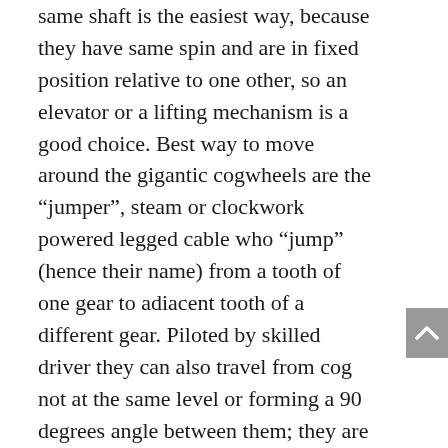same shaft is the easiest way, because they have same spin and are in fixed position relative to one other, so an elevator or a lifting mechanism is a good choice. Best way to move around the gigantic cogwheels are the “jumper”, steam or clockwork powered legged cable who “jump” (hence their name) from a tooth of one gear to adiacent tooth of a different gear. Piloted by skilled driver they can also travel from cog not at the same level or forming a 90 degrees angle between them; they are not free of charge and they could be proven a bit expensive for low class citizens; also, many people don’t trust them enough to let them replace “safer methods” like the aforementioned bridges or cableway. However, there are really not a lot more choice to go from a wheel to